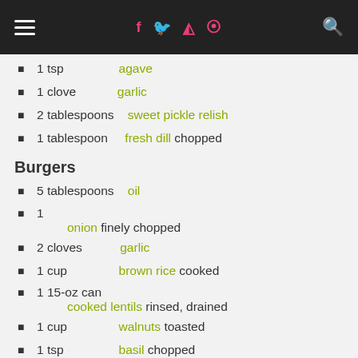≡  f  🐦  📷   pinterest  🔍
1 tsp  agave
1 clove  garlic
2 tablespoons  sweet pickle relish
1 tablespoon  fresh dill chopped
Burgers
5 tablespoons  oil
1  onion finely chopped
2 cloves  garlic
1 cup  brown rice cooked
1  15-oz can  cooked lentils rinsed, drained
1 cup  walnuts toasted
1 tsp  basil chopped
1/2 cup  flour (I used 1/4 coconut flour to make it GF)
4  hamburger buns